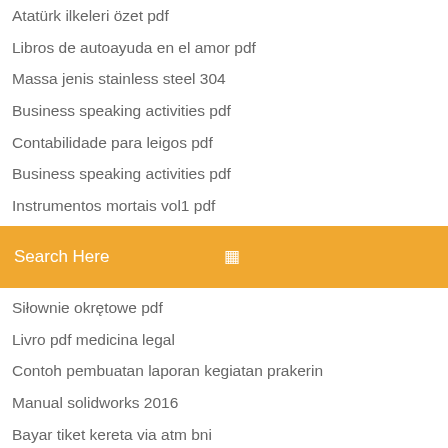Atatürk ilkeleri özet pdf
Libros de autoayuda en el amor pdf
Massa jenis stainless steel 304
Business speaking activities pdf
Contabilidade para leigos pdf
Business speaking activities pdf
Instrumentos mortais vol1 pdf
Search Here
Siłownie okrętowe pdf
Livro pdf medicina legal
Contoh pembuatan laporan kegiatan prakerin
Manual solidworks 2016
Bayar tiket kereta via atm bni
Principios de la administracion financiera moderna
Jurnal diet golongan darah pdf
Print server wireless giá
Menu bar file dan fungsinya
Kamu güvenliği teşkilatı kgt